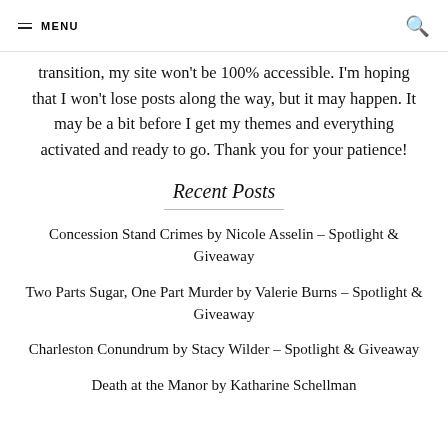MENU
transition, my site won't be 100% accessible. I'm hoping that I won't lose posts along the way, but it may happen. It may be a bit before I get my themes and everything activated and ready to go. Thank you for your patience!
Recent Posts
Concession Stand Crimes by Nicole Asselin – Spotlight & Giveaway
Two Parts Sugar, One Part Murder by Valerie Burns – Spotlight & Giveaway
Charleston Conundrum by Stacy Wilder – Spotlight & Giveaway
Death at the Manor by Katharine Schellman